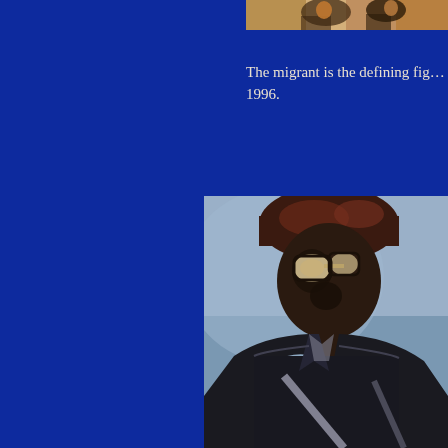[Figure (photo): Partial view of a painting or artwork showing figures, cropped at top of page, visible in upper right area]
The migrant is the defining fig… 1996.
[Figure (photo): Close-up painting of a figure wearing dark jacket and glasses, looking downward, set against a pale blue background. The figure appears to be of African descent, stylistically painted.]